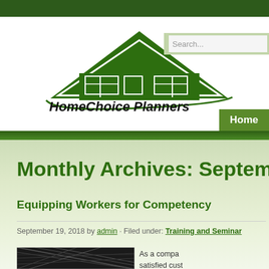[Figure (logo): HomeChoice Planners & Construction Corporation logo with house/roof graphic in green and white]
Search...
Home
Monthly Archives: September
Equipping Workers for Competency
September 19, 2018 by admin · Filed under: Training and Seminar
[Figure (photo): Interior photo of a building under construction showing steel roof trusses and metal decking]
As a company satisfied customers and continua system: Hom